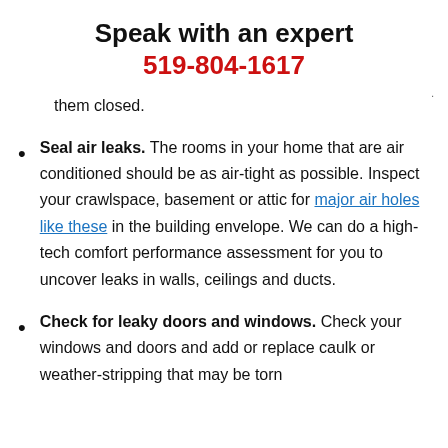Speak with an expert
519-804-1617
them closed.
Seal air leaks. The rooms in your home that are air conditioned should be as air-tight as possible. Inspect your crawlspace, basement or attic for major air holes like these in the building envelope. We can do a high-tech comfort performance assessment for you to uncover leaks in walls, ceilings and ducts.
Check for leaky doors and windows. Check your windows and doors and add or replace caulk or weather-stripping that may be torn